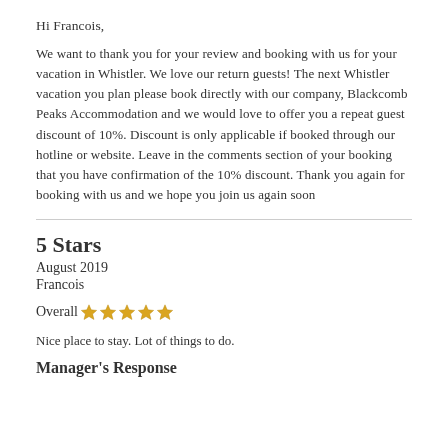Hi Francois,
We want to thank you for your review and booking with us for your vacation in Whistler. We love our return guests! The next Whistler vacation you plan please book directly with our company, Blackcomb Peaks Accommodation and we would love to offer you a repeat guest discount of 10%. Discount is only applicable if booked through our hotline or website. Leave in the comments section of your booking that you have confirmation of the 10% discount. Thank you again for booking with us and we hope you join us again soon
5 Stars
August 2019
Francois
Overall ★★★★★
Nice place to stay. Lot of things to do.
Manager's Response